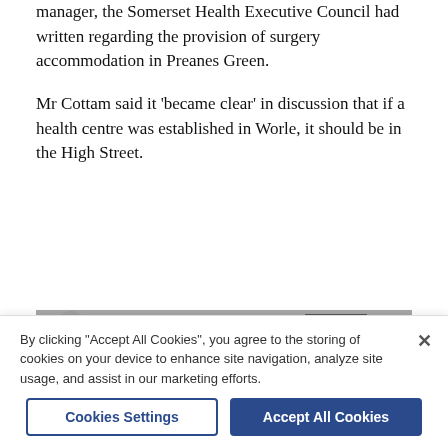manager, the Somerset Health Executive Council had written regarding the provision of surgery accommodation in Preanes Green.
Mr Cottam said it 'became clear' in discussion that if a health centre was established in Worle, it should be in the High Street.
[Figure (photo): Black and white photograph showing a group of people in a room; a uniformed man on the left appears to be pouring a drink, while several women and a man on the right are seated or standing, socializing.]
By clicking "Accept All Cookies", you agree to the storing of cookies on your device to enhance site navigation, analyze site usage, and assist in our marketing efforts.
Cookies Settings
Accept All Cookies